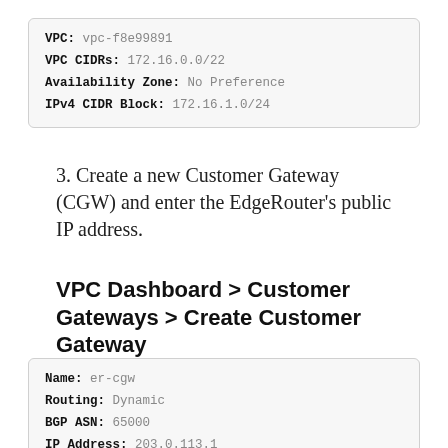[Figure (screenshot): Code/config box showing VPC details: VPC: vpc-f8e99891, VPC CIDRs: 172.16.0.0/22, Availability Zone: No Preference, IPv4 CIDR Block: 172.16.1.0/24]
3. Create a new Customer Gateway (CGW) and enter the EdgeRouter's public IP address.
VPC Dashboard > Customer Gateways > Create Customer Gateway
[Figure (screenshot): Code/config box showing CGW details: Name: er-cgw, Routing: Dynamic, BGP ASN: 65000, IP Address: 203.0.113.1]